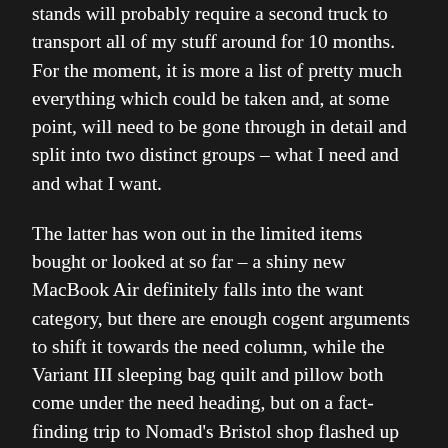stands will probably require a second truck to transport all of my stuff around for 10 months. For the moment, it is more a list of pretty much everything which could be taken and, at some point, will need to be gone through in detail and split into two distinct groups – what I need and and what I want.
The latter has won out in the limited items bought or looked at so far – a shiny new MacBook Air definitely falls into the want category, but there are enough cogent arguments to shift it towards the need column, while the Variant III sleeping bag quilt and pillow both come under the need heading, but on a fact-finding trip to Nomad's Bristol shop flashed up "want" in front of my eyes.
At the moment, the Africa list remains in the background and deliberately so.
There's a lot on there – things to buy, questions to be